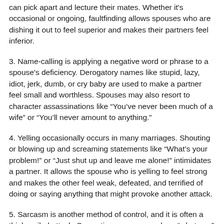can pick apart and lecture their mates. Whether it's occasional or ongoing, faultfinding allows spouses who are dishing it out to feel superior and makes their partners feel inferior.
3. Name-calling is applying a negative word or phrase to a spouse's deficiency. Derogatory names like stupid, lazy, idiot, jerk, dumb, or cry baby are used to make a partner feel small and worthless. Spouses may also resort to character assassinations like “You’ve never been much of a wife” or “You’ll never amount to anything.”
4. Yelling occasionally occurs in many marriages. Shouting or blowing up and screaming statements like “What’s your problem!” or “Just shut up and leave me alone!” intimidates a partner. It allows the spouse who is yelling to feel strong and makes the other feel weak, defeated, and terrified of doing or saying anything that might provoke another attack.
5. Sarcasm is another method of control, and it is often a thinly veiled attack. Sarcastic responses such as “whatever” or “sure” (especially accompanied by rolled eyes) discounts